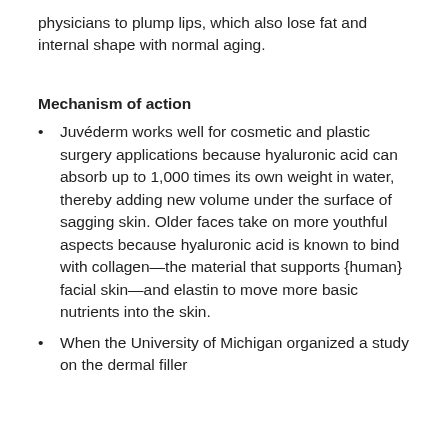physicians to plump lips, which also lose fat and internal shape with normal aging.
Mechanism of action
Juvéderm works well for cosmetic and plastic surgery applications because hyaluronic acid can absorb up to 1,000 times its own weight in water, thereby adding new volume under the surface of sagging skin. Older faces take on more youthful aspects because hyaluronic acid is known to bind with collagen—the material that supports {human} facial skin—and elastin to move more basic nutrients into the skin.
When the University of Michigan organized a study on the dermal filler